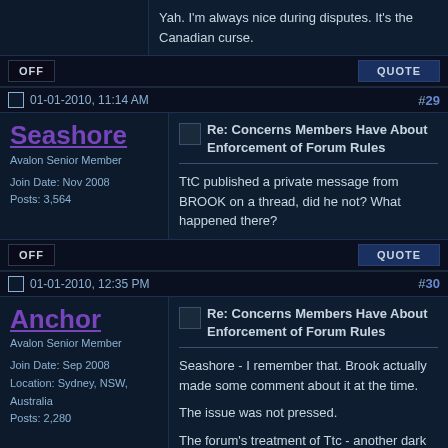Yah. I'm always nice during disputes. It's the Canadian curse.
OFF
QUOTE
01-01-2010, 11:14 AM
#29
Seashore
Avalon Senior Member
Join Date: Nov 2008
Posts: 3,564
Re: Concerns Members Have About Enforcement of Forum Rules
TtC published a private message from BROOK on a thread, did he not? What happened there?
OFF
QUOTE
01-01-2010, 12:35 PM
#30
Anchor
Avalon Senior Member
Join Date: Sep 2008
Location: Sydney, NSW, Australia
Posts: 2,280
Re: Concerns Members Have About Enforcement of Forum Rules
Seashore - I remember that. Brook actually made some comment about it at the time.

The issue was not pressed.

The forum's treatment of Ttc - another dark episode of our history. Within two or